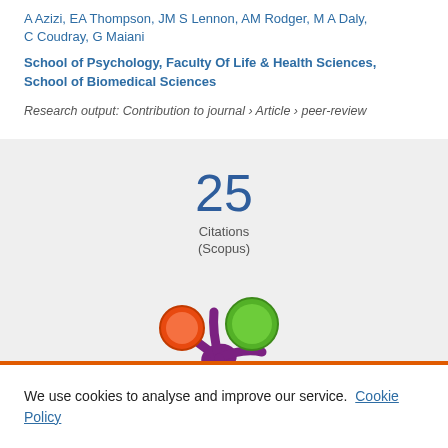A Azizi, EA Thompson, JM S Lennon, AM Rodger, M A Daly, C Coudray, G Maiani
School of Psychology, Faculty Of Life & Health Sciences, School of Biomedical Sciences
Research output: Contribution to journal › Article › peer-review
25 Citations (Scopus)
[Figure (logo): Altmetric logo - colorful blob/splat shape with orange, green, and purple circles]
We use cookies to analyse and improve our service. Cookie Policy